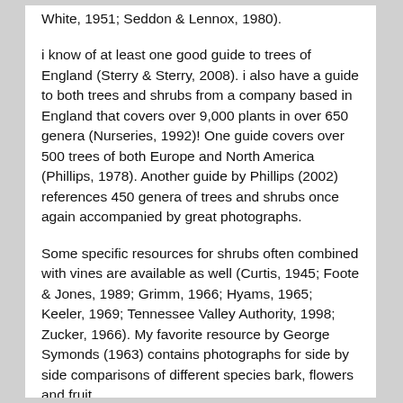White, 1951; Seddon & Lennox, 1980).
i know of at least one good guide to trees of England (Sterry & Sterry, 2008). i also have a guide to both trees and shrubs from a company based in England that covers over 9,000 plants in over 650 genera (Nurseries, 1992)! One guide covers over 500 trees of both Europe and North America (Phillips, 1978). Another guide by Phillips (2002) references 450 genera of trees and shrubs once again accompanied by great photographs.
Some specific resources for shrubs often combined with vines are available as well (Curtis, 1945; Foote & Jones, 1989; Grimm, 1966; Hyams, 1965; Keeler, 1969; Tennessee Valley Authority, 1998; Zucker, 1966). My favorite resource by George Symonds (1963) contains photographs for side by side comparisons of different species bark, flowers and fruit...